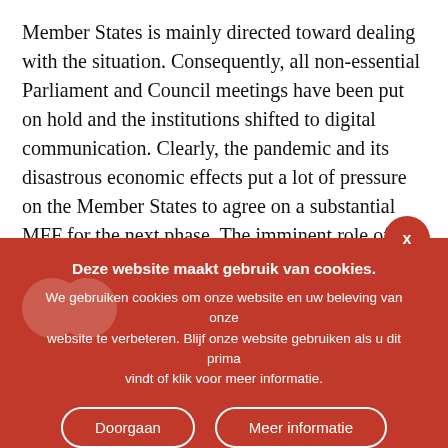Member States is mainly directed toward dealing with the situation. Consequently, all non-essential Parliament and Council meetings have been put on hold and the institutions shifted to digital communication. Clearly, the pandemic and its disastrous economic effects put a lot of pressure on the Member States to agree on a substantial MFF for the next phase. The imminent role of researchers in this pandemic suggests that R&D budgets will play an important role in the future of Europe.
Deze website maakt gebruik van cookies. We gebruiken cookies om onze website en uw beleving van onze website te verbeteren. Blijf onze website gebruiken als u dit prima vindt of klik voor meer informatie. [Doorgaan] [Meer informatie]